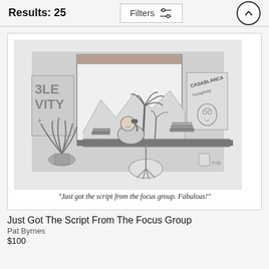Results: 25
[Figure (illustration): New Yorker style cartoon showing a Hollywood executive sitting at a desk on the phone, large window behind showing mountains and palm trees, a plant to the left, a Casablanca movie poster on the right wall. Caption reads: "Just got the script from the focus group. Fabulous!"]
Just Got The Script From The Focus Group
Pat Byrnes
$100